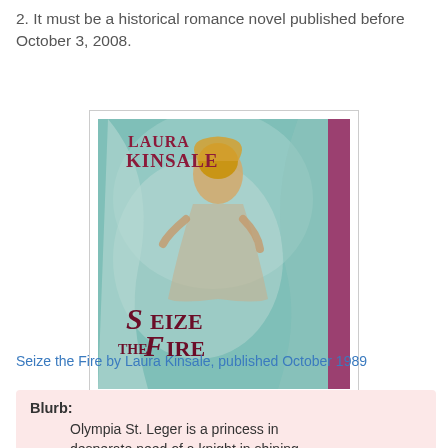2. It must be a historical romance novel published before October 3, 2008.
[Figure (illustration): Book cover of 'Seize the Fire' by Laura Kinsale. Shows a woman with golden hair in flowing robes against a teal/green background. Author name 'Laura Kinsale' appears at the top in red serif font. Title 'Seize the Fire' appears at the bottom in large dark red serif font with decorative styling. A purple/magenta vertical stripe is on the right side.]
Seize the Fire by Laura Kinsale, published October 1989
Blurb:
Olympia St. Leger is a princess in desperate need of a knight in shining